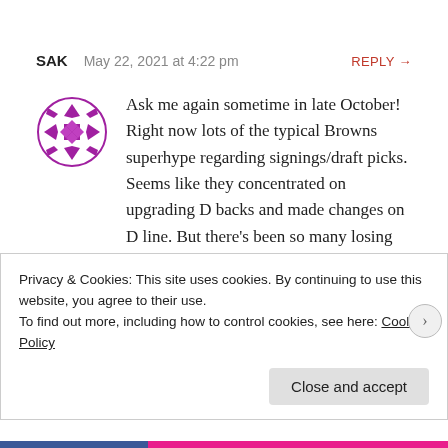SAK   May 22, 2021 at 4:22 pm   REPLY →
Ask me again sometime in late October! Right now lots of the typical Browns superhype regarding signings/draft picks. Seems like they concentrated on upgrading D backs and made changes on D line. But there's been so many losing seasons with similar hype that I've learned not to expect much. If they win I'll be happy, if not, they
Privacy & Cookies: This site uses cookies. By continuing to use this website, you agree to their use.
To find out more, including how to control cookies, see here: Cookie Policy
Close and accept